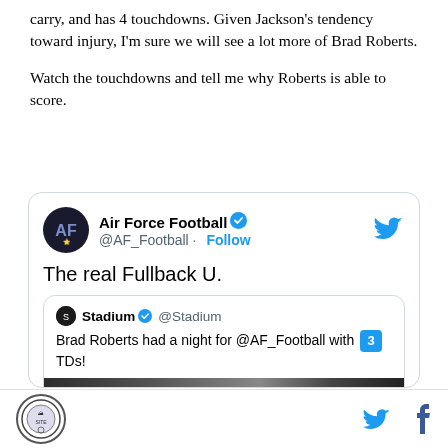carry, and has 4 touchdowns. Given Jackson's tendency toward injury, I'm sure we will see a lot more of Brad Roberts.
Watch the touchdowns and tell me why Roberts is able to score.
[Figure (screenshot): Embedded tweet from @AF_Football (Air Force Football) with verified badge, saying 'The real Fullback U.' quoting @Stadium tweet about Brad Roberts having a night with 3 TDs for @AF_Football. Twitter bird logo in top right of card.]
Site logo, Twitter icon, Facebook icon